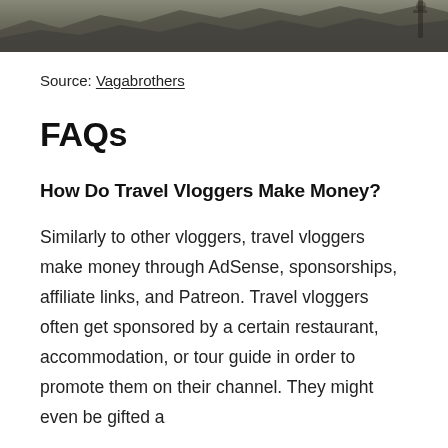[Figure (photo): Partial outdoor/nature photo strip at the top of the page, dark tones suggesting rocky or mountainous terrain]
Source: Vagabrothers
FAQs
How Do Travel Vloggers Make Money?
Similarly to other vloggers, travel vloggers make money through AdSense, sponsorships, affiliate links, and Patreon. Travel vloggers often get sponsored by a certain restaurant, accommodation, or tour guide in order to promote them on their channel. They might even be gifted a